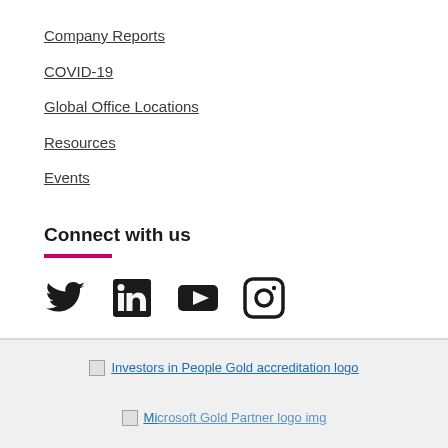Company Reports
COVID-19
Global Office Locations
Resources
Events
Connect with us
[Figure (infographic): Social media icons: Twitter, LinkedIn, YouTube, Instagram]
[Figure (logo): Investors in People Gold accreditation logo]
[Figure (logo): Microsoft Gold Partner logo (partially visible)]